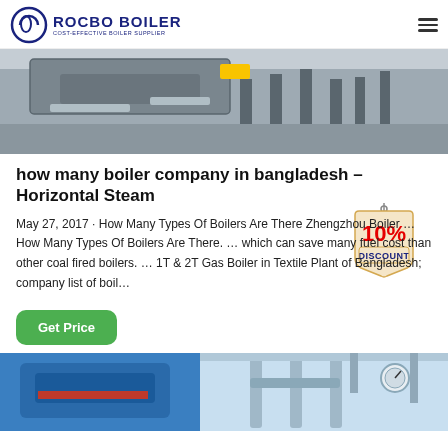ROCBO BOILER - COST-EFFECTIVE BOILER SUPPLIER
[Figure (photo): Industrial boiler equipment in factory setting, top portion of image visible]
how many boiler company in bangladesh – Horizontal Steam
[Figure (illustration): 10% DISCOUNT badge/tag in red and cream colors]
May 27, 2017 · How Many Types Of Boilers Are There Zhengzhou Boiler … How Many Types Of Boilers Are There. … which can save many fuel cost than other coal fired boilers. … 1T & 2T Gas Boiler in Textile Plant of Bangladesh; company list of boil…
[Figure (photo): Industrial boiler/pipe system in blue, bottom portion of page]